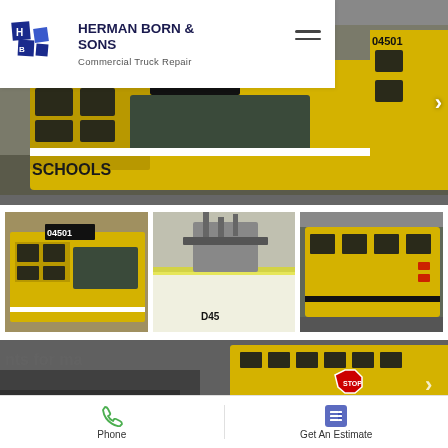HERMAN BORN & SONS - Commercial Truck Repair
[Figure (photo): Yellow school bus front view (bus number 04501) inside a garage facility, main hero slider image]
[Figure (photo): Thumbnail 1: Yellow school bus front view]
[Figure (photo): Thumbnail 2: Close-up of bus roof/mechanical components]
[Figure (photo): Thumbnail 3: Side view of yellow school bus]
[Figure (photo): Bottom slider: Yellow school bus and truck in collision/repair scene, with text partially visible 'nts for ma']
nts for ma
Phone
Get An Estimate